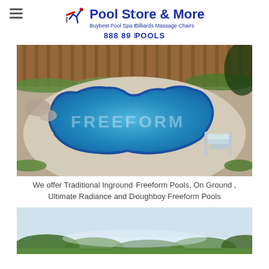Pool Store & More — Buybest Pool Spa Billiards Massage Chairs — 888 89 POOLS
[Figure (photo): Freeform inground swimming pool with blue vinyl liner, surrounding concrete patio, wooden fence in background, metal pool ladder on right side. Watermark text 'FREEFORM' on the pool water.]
We offer Traditional Inground Freeform Pools, On Ground , Ultimate Radiance and Doughboy Freeform Pools
[Figure (photo): Partial photo of a pool in a landscape setting with trees in background, partially cropped. Blue hexagonal chat widget icon overlaid in lower right corner.]